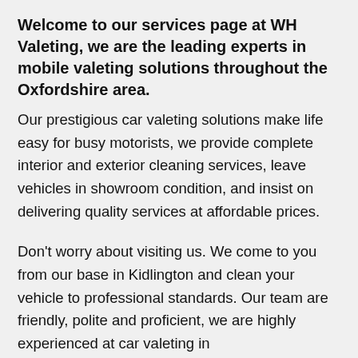Welcome to our services page at WH Valeting, we are the leading experts in mobile valeting solutions throughout the Oxfordshire area.
Our prestigious car valeting solutions make life easy for busy motorists, we provide complete interior and exterior cleaning services, leave vehicles in showroom condition, and insist on delivering quality services at affordable prices.
Don't worry about visiting us. We come to you from our base in Kidlington and clean your vehicle to professional standards. Our team are friendly, polite and proficient, we are highly experienced at car valeting in